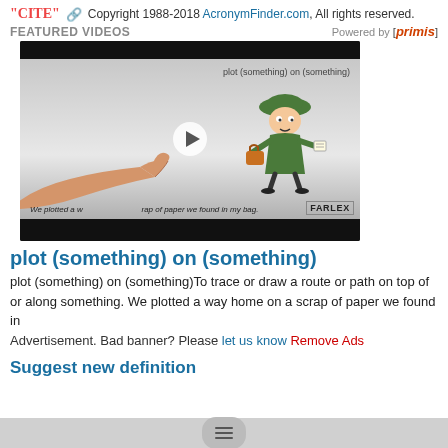"CITE" 🔗 Copyright 1988-2018 AcronymFinder.com, All rights reserved.
FEATURED VIDEOS   Powered by [primis]
[Figure (screenshot): Video thumbnail showing a cartoon character and a hand pointing, with text 'plot (something) on (something)' and 'We plotted a way home on a scrap of paper we found in my bag.' FARLEX branding in corner.]
plot (something) on (something)
plot (something) on (something)To trace or draw a route or path on top of or along something. We plotted a way home on a scrap of paper we found in
Advertisement. Bad banner? Please let us know Remove Ads
Suggest new definition